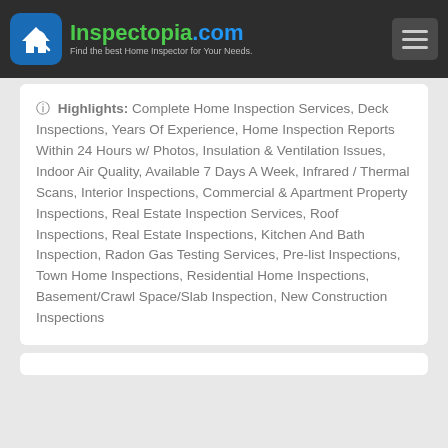Inspectopia.com — Find the best Home Inspector for Your Needs.
⊙ Highlights: Complete Home Inspection Services, Deck Inspections, Years Of Experience, Home Inspection Reports Within 24 Hours w/ Photos, Insulation & Ventilation Issues, Indoor Air Quality, Available 7 Days A Week, Infrared / Thermal Scans, Interior Inspections, Commercial & Apartment Property Inspections, Real Estate Inspection Services, Roof Inspections, Real Estate Inspections, Kitchen And Bath Inspection, Radon Gas Testing Services, Pre-list Inspections, Town Home Inspections, Residential Home Inspections, Basement/Crawl Space/Slab Inspection, New Construction Inspections